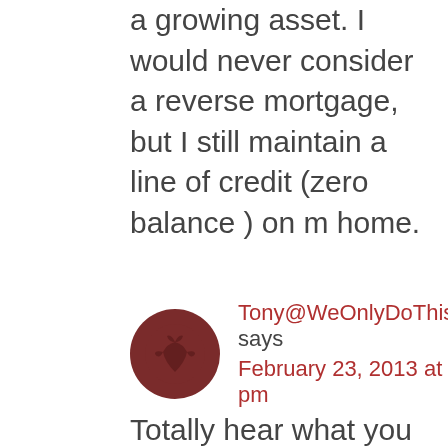a growing asset. I would never consider a reverse mortgage, but I still maintain a line of credit (zero balance ) on m home.
Tony@WeOnlyDoThisOnce says
February 23, 2013 at 2:19 pm
Totally hear what you are saying, but I am the kind of guy who sleeps